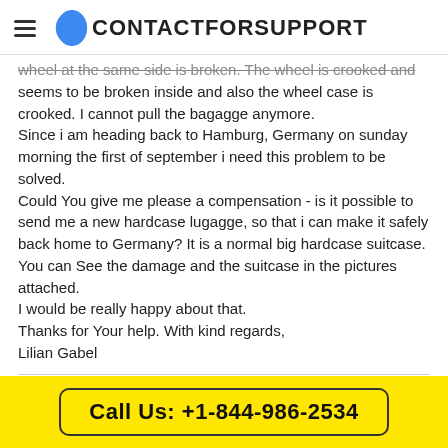CONTACTFORSUPPORT
wheel at the same side is broken. The wheel is crooked and seems to be broken inside and also the wheel case is crooked. I cannot pull the bagagge anymore.
Since i am heading back to Hamburg, Germany on sunday morning the first of september i need this problem to be solved.
Could You give me please a compensation - is it possible to send me a new hardcase lugagge, so that i can make it safely back home to Germany? It is a normal big hardcase suitcase.
You can See the damage and the suitcase in the pictures attached.
I would be really happy about that.
Thanks for Your help. With kind regards,
Lilian Gabel
Sukhdeen singh
Call Us: +1-844-986-2534